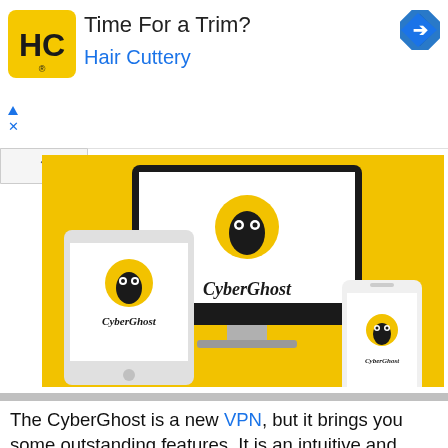[Figure (advertisement): Hair Cuttery ad banner with HC logo, text 'Time For a Trim?' and 'Hair Cuttery' link, blue navigation arrow icon, ad disclosure triangle and X]
[Figure (screenshot): CyberGhost VPN promotional image showing desktop monitor, tablet, and smartphone with CyberGhost logo on yellow background]
The CyberGhost is a new VPN, but it brings you some outstanding features. It is an intuitive and user-friendly VPN program for ease of use and comfortable user experience. Besides, the VPN maintains an excellent no-log privacy policy